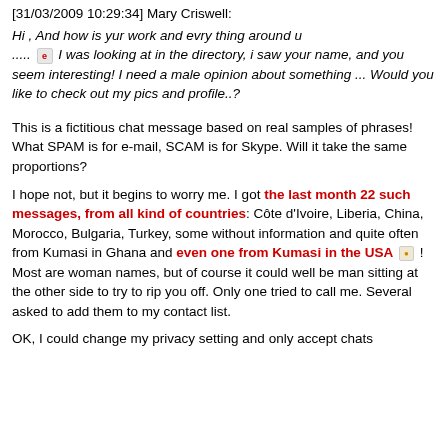[31/03/2009 10:29:34] Mary Criswell: Hi , And how is yur work and evry thing around u ..... [emoji] I was looking at in the directory, i saw your name, and you seem interesting! I need a male opinion about something ... Would you like to check out my pics and profile..?
This is a fictitious chat message based on real samples of phrases! What SPAM is for e-mail, SCAM is for Skype. Will it take the same proportions?
I hope not, but it begins to worry me. I got the last month 22 such messages, from all kind of countries: Côte d'Ivoire, Liberia, China, Morocco, Bulgaria, Turkey, some without information and quite often from Kumasi in Ghana and even one from Kumasi in the USA [emoji] ! Most are woman names, but of course it could well be man sitting at the other side to try to rip you off. Only one tried to call me. Several asked to add them to my contact list.
OK, I could change my privacy setting and only accept chats